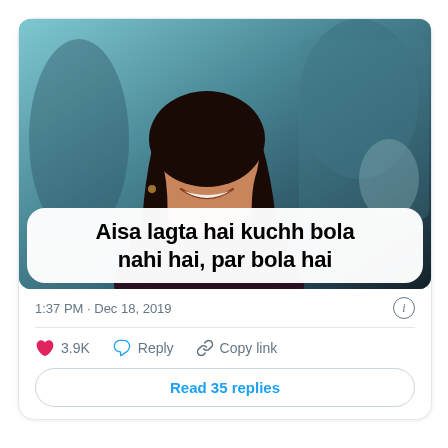[Figure (photo): A young woman with long dark hair smiling, overlaid with a white rounded caption box showing Hindi/Urdu text meme.]
Aisa lagta hai kuchh bola nahi hai, par bola hai
1:37 PM · Dec 18, 2019
3.9K  Reply  Copy link
Read 35 replies